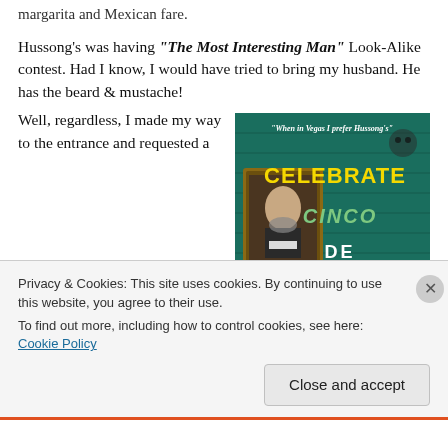margarita and Mexican fare.
Hussong's was having "The Most Interesting Man" Look-Alike contest. Had I know, I would have tried to bring my husband. He has the beard & mustache! Well, regardless, I made my way to the entrance and requested a
[Figure (photo): Promotional image for Hussong's Cinco de Mayo event featuring a man resembling 'The Most Interesting Man in the World' in a framed portrait, with text 'When in Vegas I prefer Hussong's' and 'CELEBRATE CINCO DE MAYO' in stylized lettering on a teal background.]
Privacy & Cookies: This site uses cookies. By continuing to use this website, you agree to their use.
To find out more, including how to control cookies, see here: Cookie Policy
Close and accept